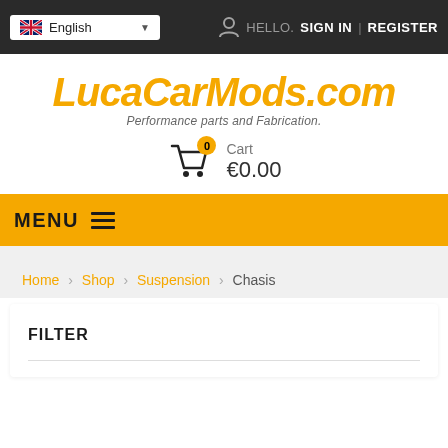English | HELLO. SIGN IN | REGISTER
[Figure (logo): LucaCarMods.com logo with tagline 'Performance parts and Fabrication.']
Cart €0.00
MENU
Home > Shop > Suspension > Chasis
FILTER